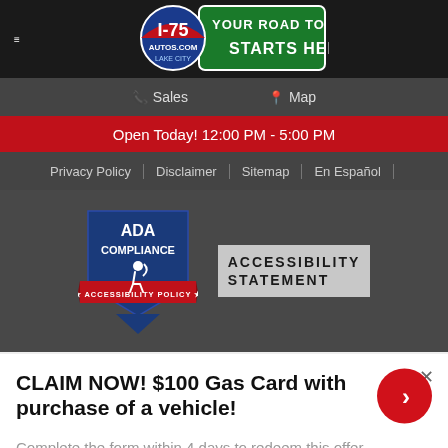I-75 AUTOS.COM LAKE CITY — YOUR ROAD TO SAVINGS STARTS HERE
Sales   Map
Open Today! 12:00 PM - 5:00 PM
Privacy Policy | Disclaimer | Sitemap | En Español
[Figure (logo): ADA Compliance badge with wheelchair accessibility symbol and 'Accessibility Policy' ribbon, alongside 'ACCESSIBILITY STATEMENT' text]
CLAIM NOW! $100 Gas Card with purchase of a vehicle!
Complete the form within 4 days to redeem this offer on your next vehicle